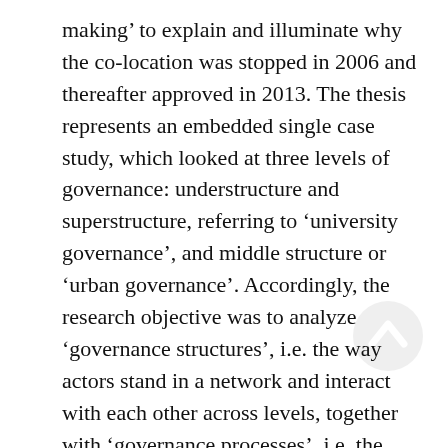making' to explain and illuminate why the co-location was stopped in 2006 and thereafter approved in 2013. The thesis represents an embedded single case study, which looked at three levels of governance: understructure and superstructure, referring to 'university governance', and middle structure or 'urban governance'. Accordingly, the research objective was to analyze 'governance structures', i.e. the way actors stand in a network and interact with each other across levels, together with 'governance processes', i.e. the interrelation between actors' attributes (such as interests, resource, power and roles) at different levels and rounds of decision-making.

The thesis conclude that in order to understand complex, unpredictable and non-linear planning and decision-making processes, one should go